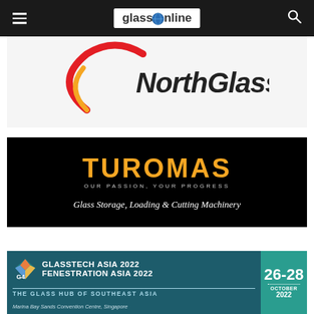glassOnline
[Figure (logo): NorthGlass logo with red and orange circular swoosh and bold italic NorthGlass text]
[Figure (logo): TUROMAS advertisement on black background with orange bold TUROMAS text, tagline OUR PASSION, YOUR PROGRESS, and subtitle Glass Storage, Loading & Cutting Machinery]
[Figure (logo): GlassTech Asia 2022 / Fenestration Asia 2022 advertisement on teal background with dates 26-28 October 2022, Marina Bay Sands Convention Centre, Singapore]